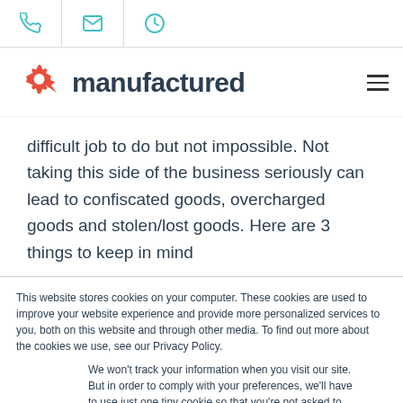Navigation icons: phone, email, clock
[Figure (logo): Manufactured company logo with red gear/arrow icon and text 'manufactured' in bold dark font, with hamburger menu icon on the right]
difficult job to do but not impossible. Not taking this side of the business seriously can lead to confiscated goods, overcharged goods and stolen/lost goods. Here are 3 things to keep in mind
This website stores cookies on your computer. These cookies are used to improve your website experience and provide more personalized services to you, both on this website and through other media. To find out more about the cookies we use, see our Privacy Policy.
We won't track your information when you visit our site. But in order to comply with your preferences, we'll have to use just one tiny cookie so that you're not asked to make this choice again.
Accept | Decline